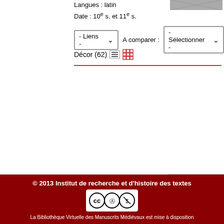Langues : latin
Date : 10e s. et 11e s.
[Figure (screenshot): Small thumbnail image of manuscript page]
- Liens -   A comparer : - Sélectionner -
Décor (62)
[Figure (screenshot): Partially visible side panel with 'Comm' heading and two buttons]
© 2013 Institut de recherche et d'histoire des textes
La Bibliothèque Virtuelle des Manuscrits Médiévaux est mise à disposition